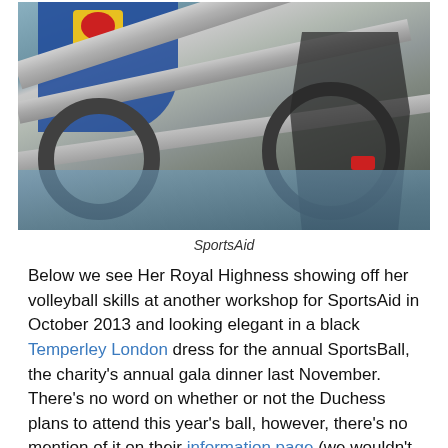[Figure (photo): Photo showing a person in a blue jersey leaning over adaptive sports equipment (hand-cycle or similar) with a red emergency button visible. In the background, another person sits in a wheelchair on a blue gymnasium floor.]
SportsAid
Below we see Her Royal Highness showing off her volleyball skills at another workshop for SportsAid in October 2013 and looking elegant in a black Temperley London dress for the annual SportsBall, the charity's annual gala dinner last November. There's no word on whether or not the Duchess plans to attend this year's ball, however, there's no mention of it on their information page (we wouldn't expect to see Kate there every year). It takes place later this month.